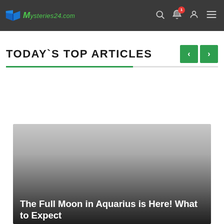Mysteries24.com
TODAY`S TOP ARTICLES
[Figure (photo): Article thumbnail image with gradient overlay, showing dark gray image placeholder for an article about the Full Moon in Aquarius]
The Full Moon in Aquarius is Here! What to Expect